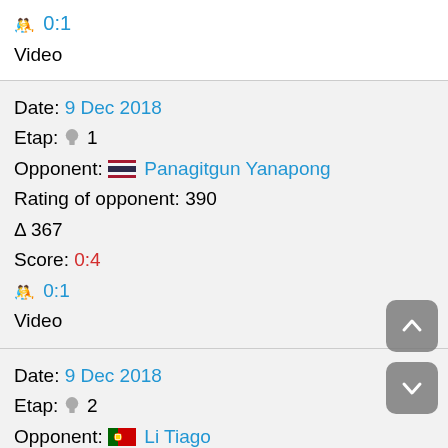🤼 0:1
Video
Date: 9 Dec 2018
Etap: 🏷 1
Opponent: 🇹🇭 Panagitgun Yanapong
Rating of opponent: 390
Δ 367
Score: 0:4
🤼 0:1
Video
Date: 9 Dec 2018
Etap: 🏷 2
Opponent: 🇵🇹 Li Tiago
Rating of opponent: 8
Δ -15
Score: 1:4
🤼 0:1
Video